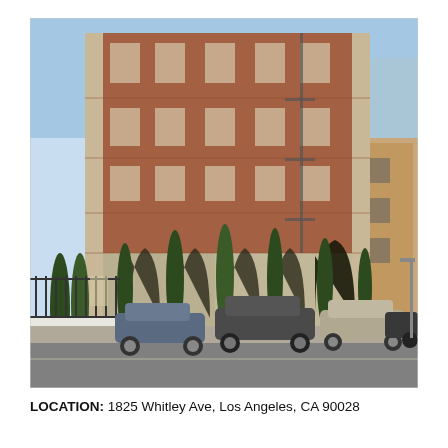[Figure (photo): Exterior photograph of a multi-story brick apartment building at 1825 Whitley Ave, Los Angeles. The building has Gothic arch windows on the ground floor, ivy-covered cypress trees, stone masonry on the lower level, and a fire escape on the upper floors. Several cars are parked on the street in front. A brownish modern building is visible to the right.]
LOCATION: 1825 Whitley Ave, Los Angeles, CA 90028